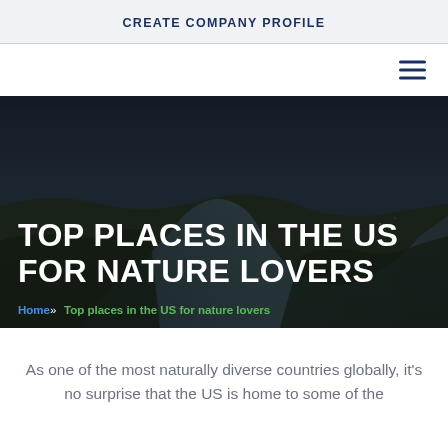CREATE COMPANY PROFILE
[Figure (screenshot): Hamburger menu icon (three horizontal lines) in dark navy blue on white nav bar]
[Figure (photo): Aerial photograph of a river winding through a landscape at dusk, with dark sky and urban/green areas visible, overlaid with large white bold text 'TOP PLACES IN THE US FOR NATURE LOVERS' and breadcrumb navigation below]
TOP PLACES IN THE US FOR NATURE LOVERS
Home » Top places in the US for nature lovers
As one of the most naturally diverse countries globally, it's no surprise that the US is home to some of the